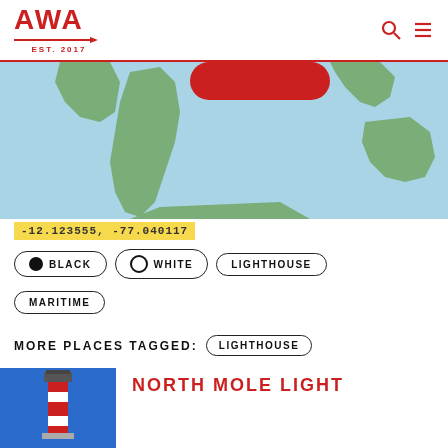AWA EST. 2017
[Figure (map): World map with light blue ocean background and green land masses; red highlighted element near top center]
-12.123555,  -77.040117
BLACK
WHITE
LIGHTHOUSE
MARITIME
MORE PLACES TAGGED: LIGHTHOUSE
[Figure (photo): Photo of a lighthouse with blue sky background]
NORTH MOLE LIGHT